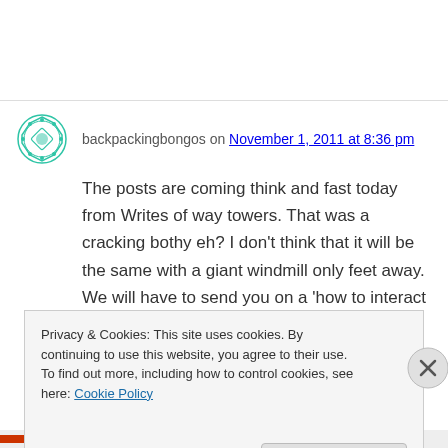backpackingbongos on November 1, 2011 at 8:36 pm
The posts are coming think and fast today from Writes of way towers. That was a cracking bothy eh? I don't think that it will be the same with a giant windmill only feet away. We will have to send you on a 'how to interact with the landed
Privacy & Cookies: This site uses cookies. By continuing to use this website, you agree to their use.
To find out more, including how to control cookies, see here: Cookie Policy